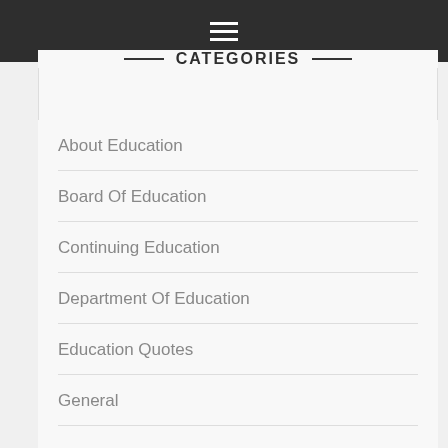≡
CATEGORIES
About Education
Board Of Education
Continuing Education
Department Of Education
Education Quotes
General